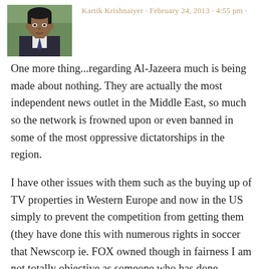Kartik Krishnaiyer · February 24, 2013 · 4:55 pm
[Figure (photo): Profile photo of a man in a suit jacket]
One more thing...regarding Al-Jazeera much is being made about nothing. They are actually the most independent news outlet in the Middle East, so much so the network is frowned upon or even banned in some of the most oppressive dictatorships in the region.
I have other issues with them such as the buying up of TV properties in Western Europe and now in the US simply to prevent the competition from getting them (they have done this with numerous rights in soccer that Newscorp ie. FOX owned though in fairness I am not totally objective as someone who has done business with FOX but not Al- Jazeera on the soccer side) and other sports/properties. They are anti-competitive